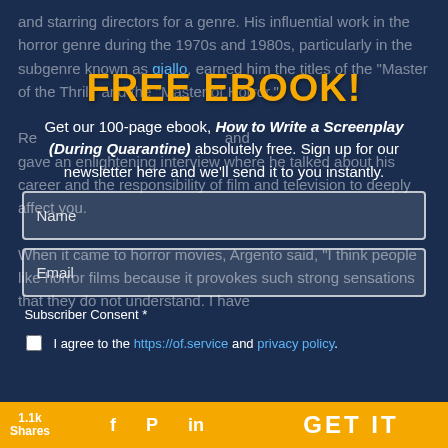and starring directors for a genre. His influential work in the horror genre during the 1970s and 1980s, particularly in the subgenre known as giallo, earned him the titles of the "Master of the Thrill" and the "Master of Horror."
FREE EBOOK!
Get our 100-page ebook, How to Write a Screenplay (During Quarantine) absolutely free. Sign up for our newsletter here and we'll send it to you instantly.
Recently, Argento attended the Cannes Film Festival and gave an enlightening interview where he talked about his career and the responsibility of film and television to deeply affect you.
When it came to horror movies, Argento said, "I think people like horror films because it provokes such strong sensations that they do not understand. I have
Subscriber Consent *
I agree to the https://of.service and privacy policy. 1.1k Shares
GET IT